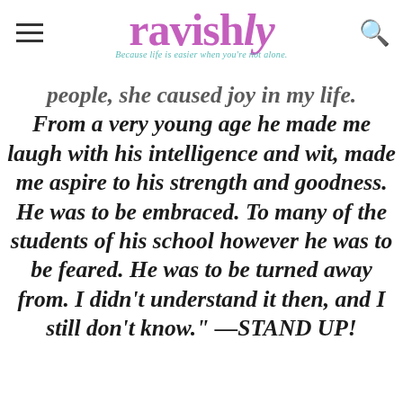ravishly — Because life is easier when you're not alone.
people, she caused joy in my life. From a very young age he made me laugh with his intelligence and wit, made me aspire to his strength and goodness. He was to be embraced. To many of the students of his school however he was to be feared. He was to be turned away from. I didn't understand it then, and I still don't know." —STAND UP!